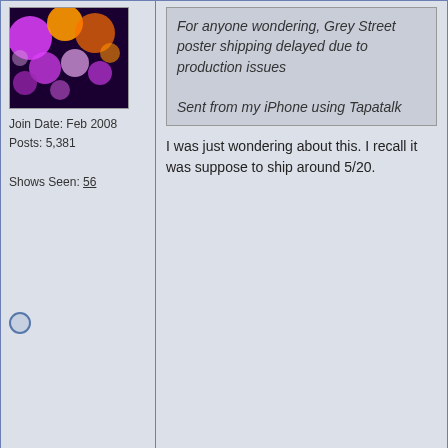Join Date: Feb 2008
Posts: 5,381
Shows Seen: 56
For anyone wondering, Grey Street poster shipping delayed due to production issues

Sent from my iPhone using Tapatalk
I was just wondering about this. I recall it was suppose to ship around 5/20.
06-03-2022, 11:55 AM  #97
BruceW
Join Date: Apr 2005
Location: FLA
Posts: 33,409
Shows Seen: 59
Re: 2022 Poster Discussion
Tonight's hahahahahahahaha
https://twitter.com/DMBGorgeCrew/sta...-iX9ZCfh-0y81g
Episode 61: "Sam Erickson": Apple YouTube